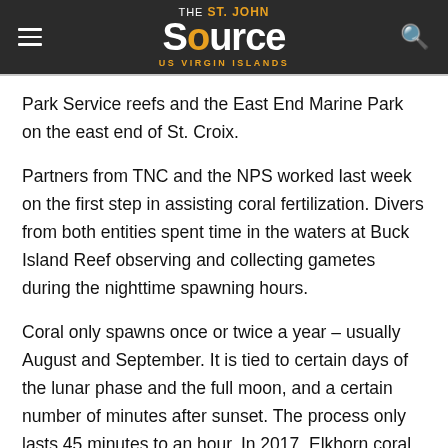THE St. John Source US VIRGIN ISLANDS
Park Service reefs and the East End Marine Park on the east end of St. Croix.
Partners from TNC and the NPS worked last week on the first step in assisting coral fertilization. Divers from both entities spent time in the waters at Buck Island Reef observing and collecting gametes during the nighttime spawning hours.
Coral only spawns once or twice a year – usually August and September. It is tied to certain days of the lunar phase and the full moon, and a certain number of minutes after sunset. The process only lasts 45 minutes to an hour. In 2017, Elkhorn coral were observed and gametes collected. This year, the teams worked with boulder corals.